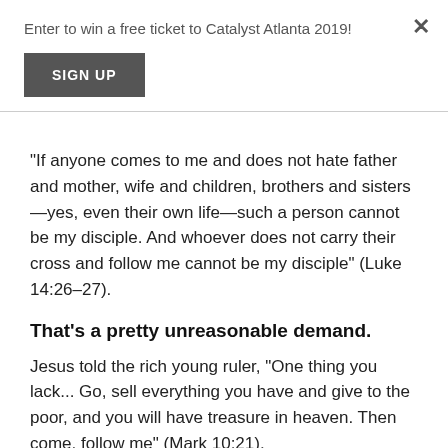Enter to win a free ticket to Catalyst Atlanta 2019!
SIGN UP
"If anyone comes to me and does not hate father and mother, wife and children, brothers and sisters—yes, even their own life—such a person cannot be my disciple. And whoever does not carry their cross and follow me cannot be my disciple" (Luke 14:26–27).
That's a pretty unreasonable demand.
Jesus told the rich young ruler, "One thing you lack... Go, sell everything you have and give to the poor, and you will have treasure in heaven. Then come, follow me" (Mark 10:21).
That seems a bit unreasonable.
Jesus told a guy with a withered hand to stretch it out. He